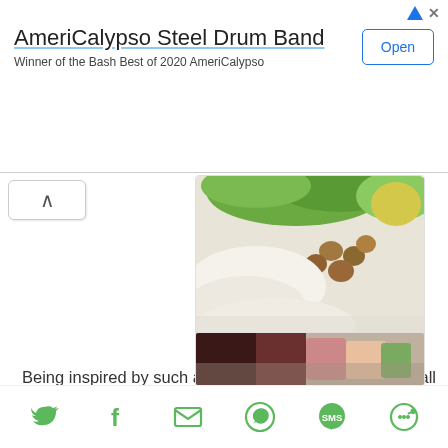[Figure (screenshot): Advertisement banner for AmeriCalypso Steel Drum Band with an Open button]
AmeriCalypso Steel Drum Band
Winner of the Bash Best of 2020 AmeriCalypso
[Figure (photo): Food styling photo showing nuts, leaves, and cream-colored elements on white background]
Being inspired by such a beautiful styling and keeping all the tips and tricks in mind, we were let loose to style and photograph our own cakes. Below you can see the results of the baked and styled Hazelnut Torte that I made with my group.
[Figure (photo): Partial photo of a cake, dark and blurred at the bottom of the page]
[Figure (infographic): Social sharing icons bar: Twitter, Facebook, Email, WhatsApp, SMS, and another share icon, all in green]